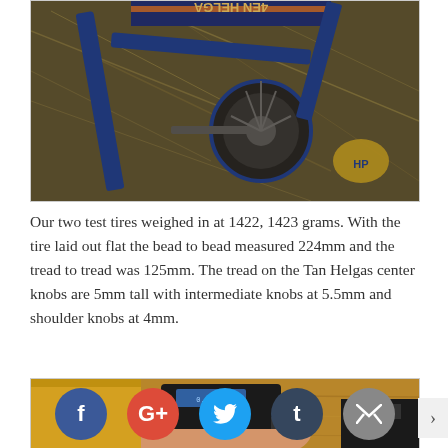[Figure (photo): Close-up photo of blue bicycle/cycling equipment with tires and mechanical components on a ground covered with hay or straw. Blue frame parts visible with orange accents.]
Our two test tires weighed in at 1422, 1423 grams. With the tire laid out flat the bead to bead measured 224mm and the tread to tread was 125mm. The tread on the Tan Helgas center knobs are 5mm tall with intermediate knobs at 5.5mm and shoulder knobs at 4mm.
[Figure (photo): Photo of a hand holding a digital caliper measuring tool, with wooden shelving/boards in the background. Social media share buttons (Facebook, Google+, Twitter, Tumblr, Email) overlaid at the bottom.]